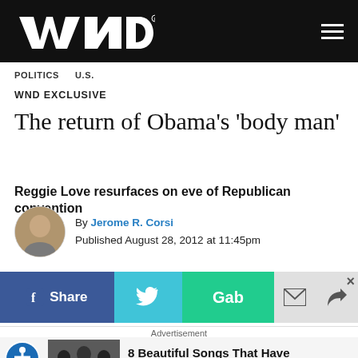WND
POLITICS   U.S.
WND EXCLUSIVE
The return of Obama's 'body man'
Reggie Love resurfaces on eve of Republican convention
By Jerome R. Corsi
Published August 28, 2012 at 11:45pm
[Figure (infographic): Social sharing buttons: Facebook Share, Twitter, Gab, Email, Share]
Advertisement
8 Beautiful Songs That Have Disturbing Meanings